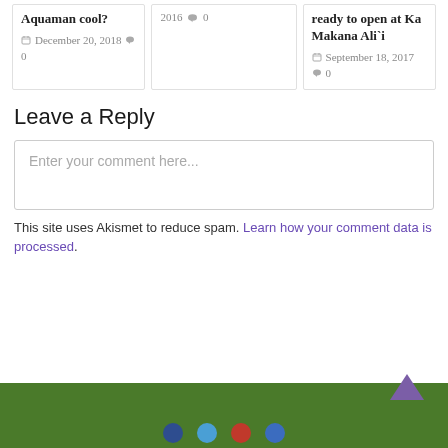Aquaman cool?
📅 December 20, 2018 💬 0
2016 💬 0
ready to open at Ka Makana Ali'i
📅 September 18, 2017 💬 0
Leave a Reply
Enter your comment here...
This site uses Akismet to reduce spam. Learn how your comment data is processed.